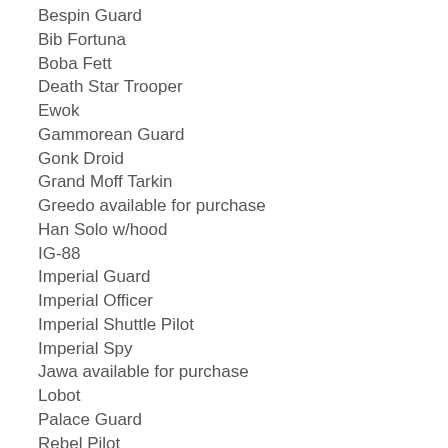Bespin Guard
Bib Fortuna
Boba Fett
Death Star Trooper
Ewok
Gammorean Guard
Gonk Droid
Grand Moff Tarkin
Greedo available for purchase
Han Solo w/hood
IG-88
Imperial Guard
Imperial Officer
Imperial Shuttle Pilot
Imperial Spy
Jawa available for purchase
Lobot
Palace Guard
Rebel Pilot
Rebel Trooper (Hoth)
Sandtrooper available for purchase
Skiff Guard
Snow Trooper